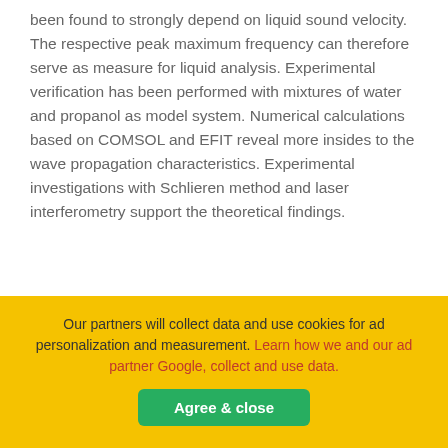been found to strongly depend on liquid sound velocity. The respective peak maximum frequency can therefore serve as measure for liquid analysis. Experimental verification has been performed with mixtures of water and propanol as model system. Numerical calculations based on COMSOL and EFIT reveal more insides to the wave propagation characteristics. Experimental investigations with Schlieren method and laser interferometry support the theoretical findings.
Our partners will collect data and use cookies for ad personalization and measurement. Learn how we and our ad partner Google, collect and use data. [Agree & close button]